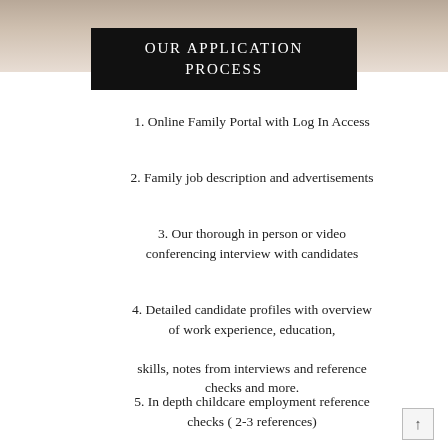[Figure (photo): Banner photo at top of page showing a child or baby, partially visible]
OUR APPLICATION PROCESS
1. Online Family Portal with Log In Access
2. Family job description and advertisements
3. Our thorough in person or video conferencing interview with candidates
4. Detailed candidate profiles with overview of work experience, education, skills, notes from interviews and reference checks and more.
5. In depth childcare employment reference checks ( 2-3 references)